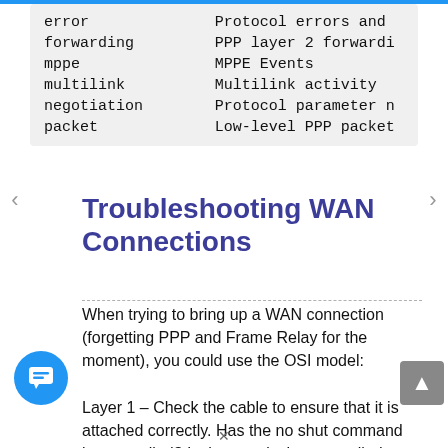|  |  |
| --- | --- |
| error | Protocol errors and |
| forwarding | PPP layer 2 forwardi |
| mppe | MPPE Events |
| multilink | Multilink activity |
| negotiation | Protocol parameter n |
| packet | Low-level PPP packet |
Troubleshooting WAN Connections
When trying to bring up a WAN connection (forgetting PPP and Frame Relay for the moment), you could use the OSI model:
Layer 1 – Check the cable to ensure that it is attached correctly. Has the no shut command been applied? Is there a clock rate applied to the